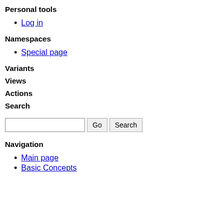Personal tools
Log in
Namespaces
Special page
Variants
Views
Actions
Search
Go Search (input area)
Navigation
Main page
Basic Concepts